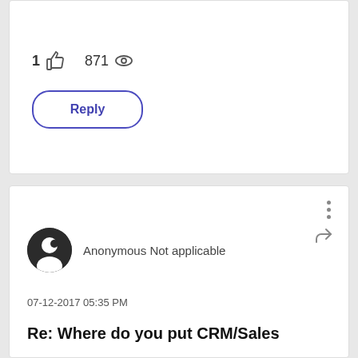[Figure (screenshot): Like count: 1 thumbs up icon, 871 views icon]
Reply
[Figure (screenshot): Three-dot menu icon and share icon]
Anonymous Not applicable
07-12-2017 05:35 PM
Re: Where do you put CRM/Sales